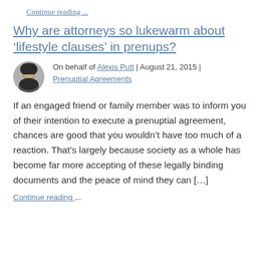Continue reading ...
Why are attorneys so lukewarm about ‘lifestyle clauses’ in prenups?
On behalf of Alexis Putt | August 21, 2015 | Prenuptial Agreements
If an engaged friend or family member was to inform you of their intention to execute a prenuptial agreement, chances are good that you wouldn’t have too much of a reaction. That’s largely because society as a whole has become far more accepting of these legally binding documents and the peace of mind they can […]
Continue reading ...